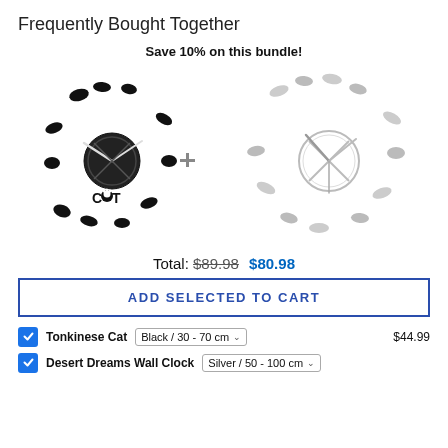Frequently Bought Together
Save 10% on this bundle!
[Figure (photo): Two wall clock products side by side: a black Tonkinese Cat wall clock with cat silhouettes, and a silver Desert Dreams Wall Clock with animal silhouettes]
Total: $89.98  $80.98
ADD SELECTED TO CART
Tonkinese Cat — Black / 30 - 70 cm — $44.99
Desert Dreams Wall Clock — Silver / 50 - 100 cm